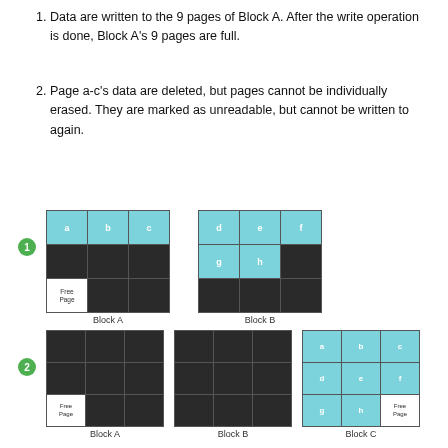1. Data are written to the 9 pages of Block A. After the write operation is done, Block A's 9 pages are full.
2. Page a-c's data are deleted, but pages cannot be individually erased. They are marked as unreadable, but cannot be written to again.
[Figure (illustration): Row 1 (badge 1): Block A grid 3x3 with top row cells a,b,c in light blue, middle row dark, bottom row with Free Page in first cell white, other cells dark. Block B grid 3x3 with top row cells d,e,f in light blue, second row cells g,h in light blue, rest dark.]
[Figure (illustration): Row 2 (badge 2): Block A grid 3x3 all dark with Free Page bottom-left white. Block B grid 3x3 all dark. Block C grid 3x3 with all 9 cells light blue labeled a-h plus Free Page.]